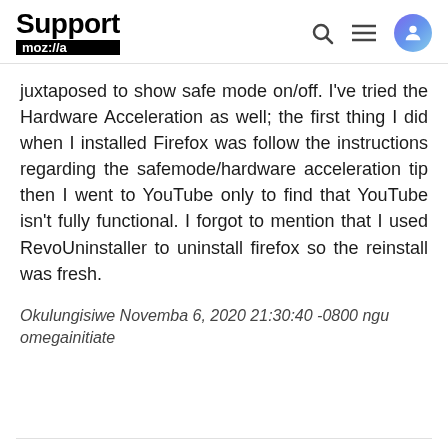Support moz://a
juxtaposed to show safe mode on/off. I've tried the Hardware Acceleration as well; the first thing I did when I installed Firefox was follow the instructions regarding the safemode/hardware acceleration tip then I went to YouTube only to find that YouTube isn't fully functional. I forgot to mention that I used RevoUninstaller to uninstall firefox so the reinstall was fresh.
Okulungisiwe Novemba 6, 2020 21:30:40 -0800 ngu omegainitiate
FredMcD